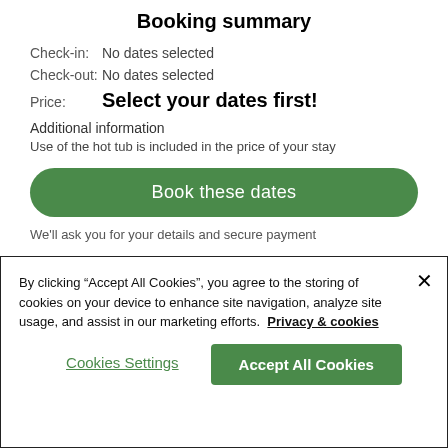Booking summary
Check-in:   No dates selected
Check-out: No dates selected
Price:   Select your dates first!
Additional information
Use of the hot tub is included in the price of your stay
[Figure (screenshot): Green rounded button labeled 'Book these dates']
We'll ask you for your details and secure payment
By clicking "Accept All Cookies", you agree to the storing of cookies on your device to enhance site navigation, analyze site usage, and assist in our marketing efforts.  Privacy & cookies
Cookies Settings
Accept All Cookies